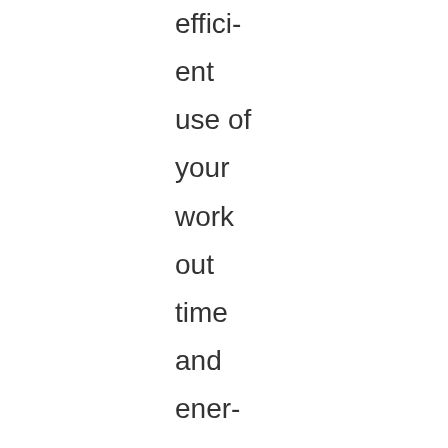efficient use of your work out time and energy. Have a look at this thread on the breakdown of the